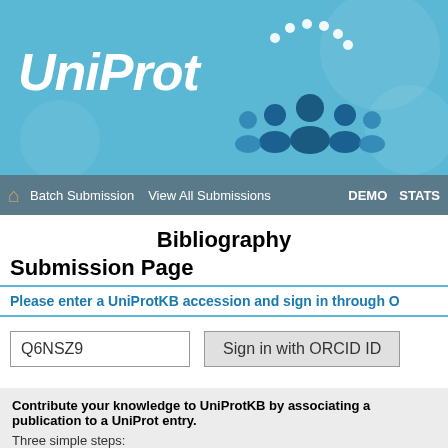[Figure (logo): UniProt logo with blue background and people icon]
Batch Submission  View All Submissions  DEMO  STATS
Bibliography
Submission Page
Please enter a UniProtKB accession and sign in through O
Q6NSZ9  Sign in with ORCID ID
Contribute your knowledge to UniProtKB by associating a publication to a UniProt entry.
Three simple steps:
1-Enter UniProtKB Accession (see box above)
2-Sign in with ORCID